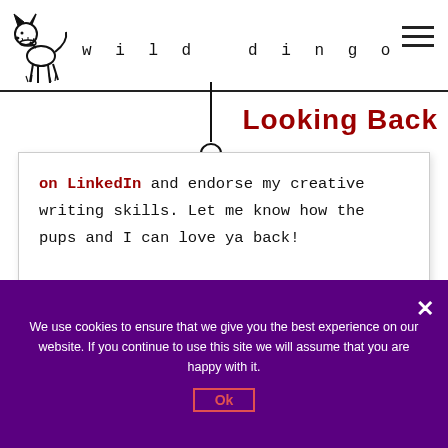wild dingo — Looking Back
on LinkedIn and endorse my creative writing skills. Let me know how the pups and I can love ya back!
We use cookies to ensure that we give you the best experience on our website. If you continue to use this site we will assume that you are happy with it. Ok